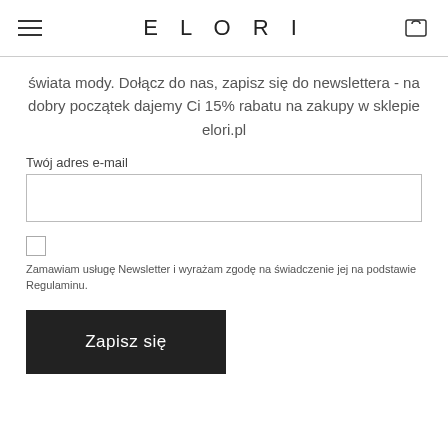ELORI
świata mody. Dołącz do nas, zapisz się do newslettera - na dobry początek dajemy Ci 15% rabatu na zakupy w sklepie elori.pl
Twój adres e-mail
Zamawiam usługę Newsletter i wyrażam zgodę na świadczenie jej na podstawie Regulaminu.
Zapisz się